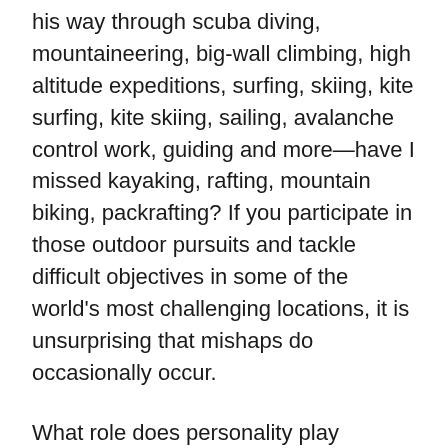his way through scuba diving, mountaineering, big-wall climbing, high altitude expeditions, surfing, skiing, kite surfing, kite skiing, sailing, avalanche control work, guiding and more—have I missed kayaking, rafting, mountain biking, packrafting? If you participate in those outdoor pursuits and tackle difficult objectives in some of the world's most challenging locations, it is unsurprising that mishaps do occasionally occur.
What role does personality play influencing how someone lives their life? Mark's book illustrates that he is fairly cheeky, does not lack in chutzpah, is happy to scrabble through sticky situations—sometimes with folded US currency in his hand—and has been involved in a few brushes with